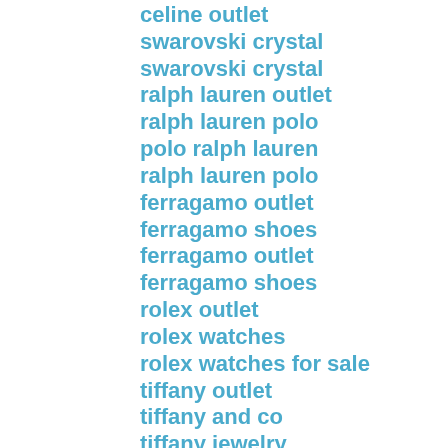celine outlet
swarovski crystal
swarovski crystal
ralph lauren outlet
ralph lauren polo
polo ralph lauren
ralph lauren polo
ferragamo outlet
ferragamo shoes
ferragamo outlet
ferragamo shoes
rolex outlet
rolex watches
rolex watches for sale
tiffany outlet
tiffany and co
tiffany jewelry
tiffany jewelry
longchamp handbags
longchamp outlet
longchamp handbags
true religion sale